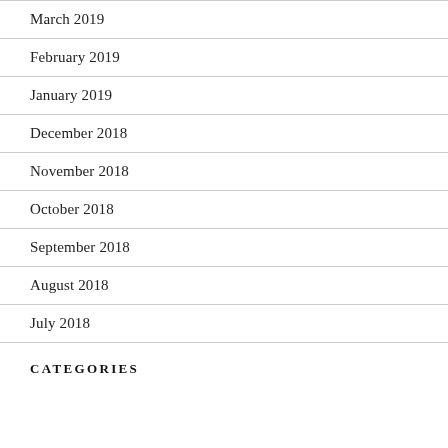March 2019
February 2019
January 2019
December 2018
November 2018
October 2018
September 2018
August 2018
July 2018
CATEGORIES